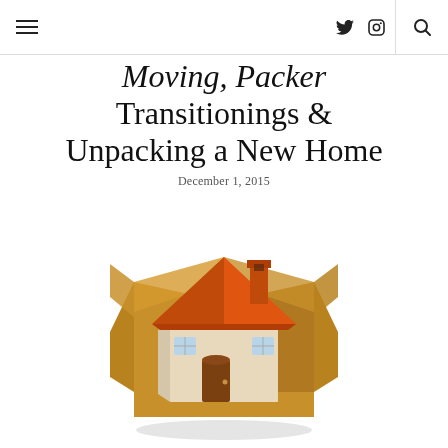≡  🐦 📷 🔍
Moving, Packer Transitionings & Unpacking a New Home
December 1, 2015
[Figure (illustration): Illustration of a small house with an orange roof and chimney sitting inside an open cardboard moving box, on a white background.]